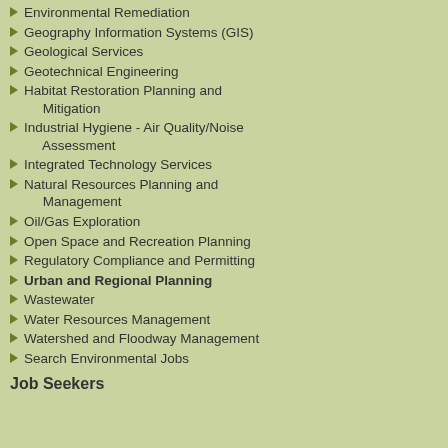Environmental Remediation
Geography Information Systems (GIS)
Geological Services
Geotechnical Engineering
Habitat Restoration Planning and Mitigation
Industrial Hygiene - Air Quality/Noise Assessment
Integrated Technology Services
Natural Resources Planning and Management
Oil/Gas Exploration
Open Space and Recreation Planning
Regulatory Compliance and Permitting
Urban and Regional Planning
Wastewater
Water Resources Management
Watershed and Floodway Management
Search Environmental Jobs
Job Seekers
When you invite Sequence to be your executive... right away to find qualified consulting engineers. searches are always effective because we understand. extensive network of contacts within the industry.
We recognize that consulting engineers function such as advisers, project managers, specialists directly with owners and executive management. save time, effort and money on a project.
But finding the right consultant can be difficult. have the experience to offer short-term technical consulting engineers. When employers cannot consulting engineer through Sequence is the a without permanently increasing their payroll, in
Broaden your executive search effort for a consulting leading staffing and recruiting agency in the consulting and light industrial fields.
Sequence is the leader in recruiting
We can promise results because we are an expert years as a leader recruiting for consulting engineers. build and maintain our infrastructure, environment
As an executive search agency, we are experts consulting engineer jobs to recruiting and staffing